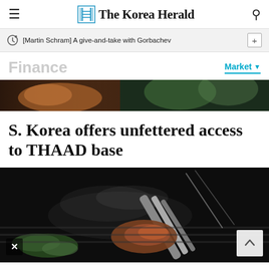The Korea Herald
[Martin Schram] A give-and-take with Gorbachev
Finance
Market
[Figure (photo): Two food/meat images side by side at top strip]
S. Korea offers unfettered access to THAAD base
[Figure (photo): Close-up dark photo of meat being picked up with tongs, with steam, on a dark background. An X close button and a scroll-to-top button are overlaid.]